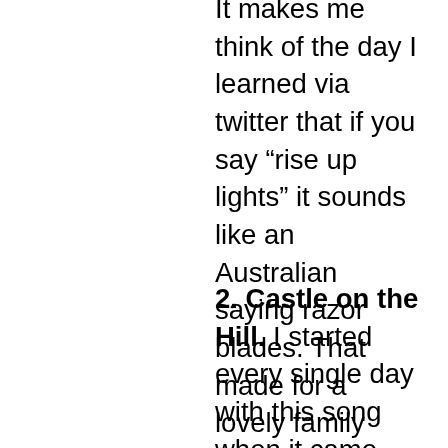It makes me think of the day I learned via twitter that if you say “rise up lights” it sounds like an Australian saying razor blades. That made for a lovely family Christmas dinner sounding like a bunch of assholes. Accents are fun.
2. Castle on the Hill. I started every single day with this song when it came out. Couldn’t kick off the day without imagining Ed doing his first kiss wrong and being puke free since 93. Instant mood changer. I’d like to say that my youth was also full of sneaking cigs and spirits in a lush green